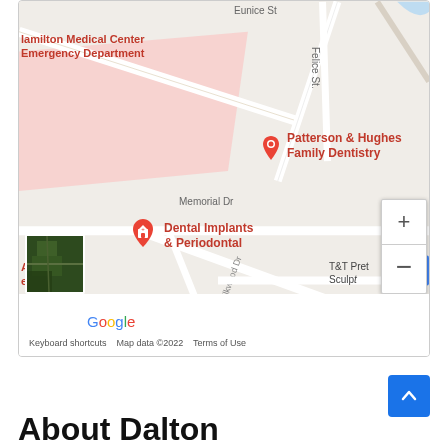[Figure (map): Google Maps showing Patterson & Hughes Family Dentistry, Dental Implants & Periodontal, Hamilton Medical Center Emergency Department, Whitfield County Dept. of Family and..., Drs. Grant and Cong..., and nearby streets (Eunice St, Memorial Dr, Elkwood Dr, Felice St) in Dalton area. Map includes zoom controls, satellite thumbnail, Google logo, keyboard shortcuts, map data ©2022, Terms of Use.]
About Dalton